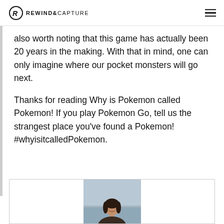REWIND&CAPTURE
also worth noting that this game has actually been 20 years in the making. With that in mind, one can only imagine where our pocket monsters will go next.
Thanks for reading Why is Pokemon called Pokemon! If you play Pokemon Go, tell us the strangest place you’ve found a Pokemon! #whyisitcalledPokemon.
[Figure (photo): Author photo showing a woman smiling, with a river and bridge visible in the background.]